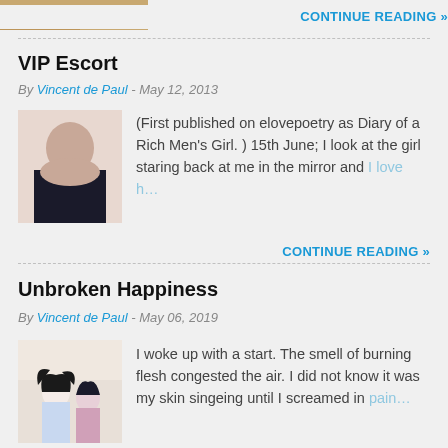[Figure (photo): Partial image visible at top of page, appears to be a person.]
CONTINUE READING »
VIP Escort
By Vincent de Paul - May 12, 2013
[Figure (photo): Woman posing in black clothing.]
(First published on elovepoetry as Diary of a Rich Men's Girl. ) 15th June; I look at the girl staring back at me in the mirror and I love h…
CONTINUE READING »
Unbroken Happiness
By Vincent de Paul - May 06, 2019
[Figure (illustration): Stylized illustration of anime-style characters with dark hair.]
I woke up with a start. The smell of burning flesh congested the air. I did not know it was my skin singeing until I screamed in pain…